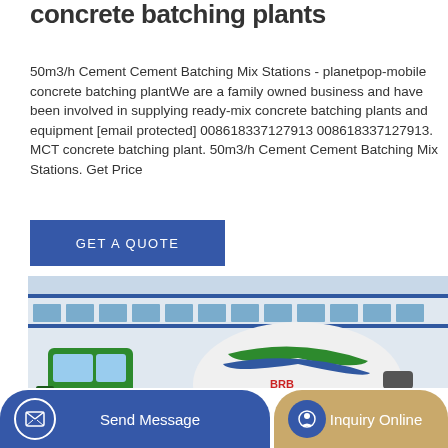concrete batching plants
50m3/h Cement Cement Batching Mix Stations - planetpop-mobile concrete batching plantWe are a family owned business and have been involved in supplying ready-mix concrete batching plants and equipment [email protected] 008618337127913 008618337127913. MCT concrete batching plant. 50m3/h Cement Cement Batching Mix Stations. Get Price
[Figure (other): Blue button with text GET A QUOTE]
[Figure (photo): A green concrete mixer truck parked in front of a large industrial building. The drum of the mixer is white with green and blue striping and a red logo. There is snow/aggregate material visible in the foreground.]
[Figure (other): Bottom navigation bar with Send Message button (blue, rounded) and Inquiry Online button (tan/gold, rounded)]